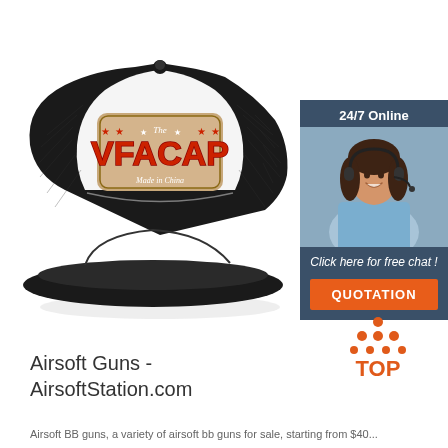[Figure (photo): Black and white snapback trucker cap with a tan/beige patch on the front reading 'VFACAP' in large red letters, with red stars and 'The' script above, and 'Made in China' script below. The cap has a white foam front and black mesh back.]
[Figure (infographic): Online chat widget with dark blue-gray background. Shows '24/7 Online' text at top, a photo of a smiling woman with a headset (customer service agent), 'Click here for free chat!' text, and an orange 'QUOTATION' button.]
[Figure (logo): TOP logo with orange/red dots arranged in a triangle above the word 'TOP' in orange/red text.]
Airsoft Guns - AirsoftStation.com
Airsoft BB guns, a variety of airsoft bb guns for sale, starting from $40...